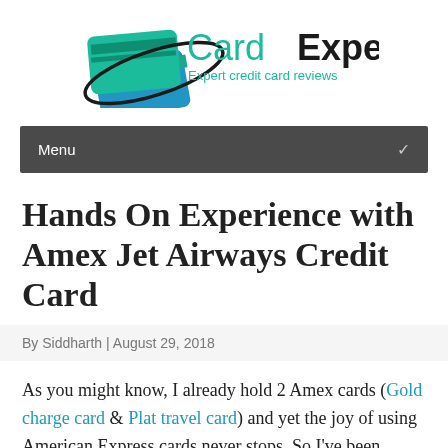[Figure (logo): Card Expert logo with teal and blue credit card graphic and text 'Card Expert - Expert credit card reviews']
Menu
Hands On Experience with Amex Jet Airways Credit Card
By Siddharth | August 29, 2018
As you might know, I already hold 2 Amex cards (Gold charge card & Plat travel card) and yet the joy of using American Express cards never stops. So I've been looking for the 3rd Amex card for almost a